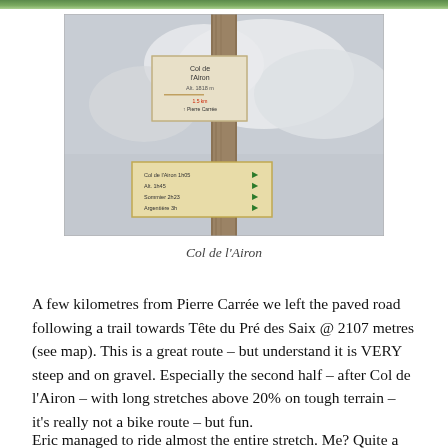[Figure (photo): A wooden trail signpost at Col de l'Airon, with a beige directional sign board showing distances to various destinations, and green arrow markers. Background shows cloudy sky and misty mountain terrain.]
Col de l'Airon
A few kilometres from Pierre Carrée we left the paved road following a trail towards Tête du Pré des Saix @ 2107 metres (see map). This is a great route – but understand it is VERY steep and on gravel. Especially the second half – after Col de l'Airon – with long stretches above 20% on tough terrain – it's really not a bike route – but fun.
Eric managed to ride almost the entire stretch. Me? Quite a bit